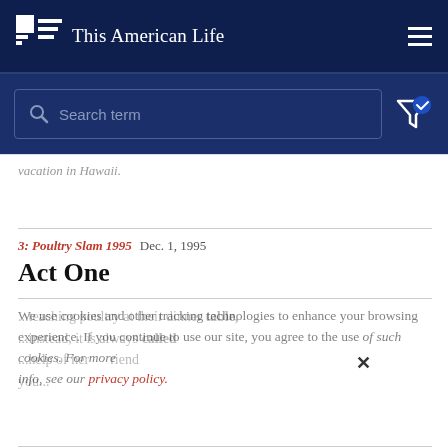This American Life
[Figure (screenshot): Search bar with placeholder text 'Search term' on dark blue background, with filter icon on right]
vacation in Hawaii.
3: Poultry Slam 1995  Dec. 1, 1995
Act One
We use cookies and other tracking technologies to enhance your browsing experience. If you continue to use our site, you agree to the use of such cookies. For more info, see our privacy policy.
...teaching poultry at their dinner table, ...instead, it is always called ...help of her friend ...you...